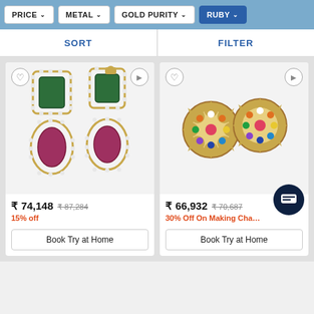PRICE ∨  METAL ∨  GOLD PURITY ∨  RUBY ∨
SORT  |  FILTER
[Figure (photo): Drop earrings with green rectangular gemstone on top and red oval gemstone below, both set in gold with diamond halo]
₹ 74,148  ₹ 87,284
15% off
Book Try at Home
[Figure (photo): Flower-shaped stud earrings in gold with multicolored gemstones (navratna style)]
₹ 66,932  ₹ 70,687
30% Off On Making Cha...
Book Try at Home